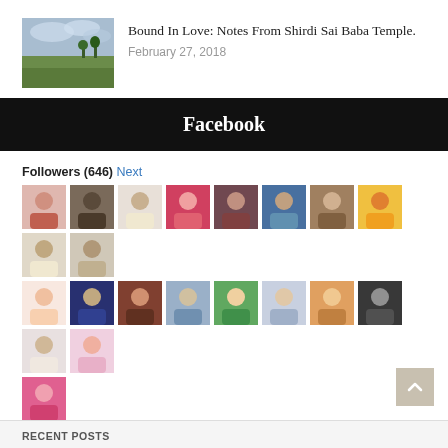[Figure (photo): Thumbnail image of landscape with fields and cloudy sky]
Bound In Love: Notes From Shirdi Sai Baba Temple.
February 27, 2018
Facebook
Followers (646) Next
[Figure (photo): Grid of 21 follower profile pictures in three rows]
Follow
RECENT POSTS